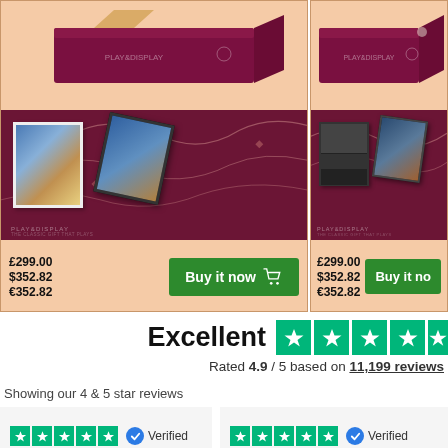[Figure (photo): E-commerce product listing for a digital photo frame gift set (Play & Display). Left card shows maroon box and frame display on dark background. Price: £299.00 / $352.82 / €352.82 with green Buy it now button.]
[Figure (photo): Second e-commerce product listing for Play & Display digital frame gift set, partially cropped on right side. Same pricing £299.00 / $352.82 / €352.82 with Buy it now button.]
£299.00
$352.82
€352.82
£299.00
$352.82
€352.82
Excellent
Rated 4.9 / 5 based on 11,199 reviews
Showing our 4 & 5 star reviews
Verified
Verified